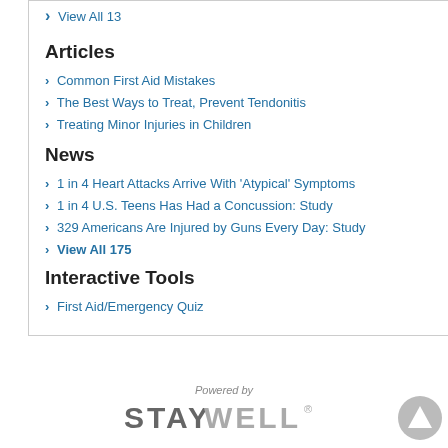> View All 13
Articles
> Common First Aid Mistakes
> The Best Ways to Treat, Prevent Tendonitis
> Treating Minor Injuries in Children
News
> 1 in 4 Heart Attacks Arrive With 'Atypical' Symptoms
> 1 in 4 U.S. Teens Has Had a Concussion: Study
> 329 Americans Are Injured by Guns Every Day: Study
> View All 175
Interactive Tools
> First Aid/Emergency Quiz
Powered by
[Figure (logo): StayWell logo in gray text]